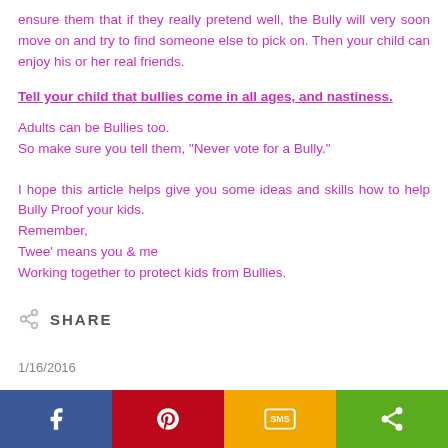ensure them that if they really pretend well, the Bully will very soon move on and try to find someone else to pick on. Then your child can enjoy his or her real friends.
Tell your child that bullies come in all ages, and nastiness.
Adults can be Bullies too.
So make sure you tell them, "Never vote for a Bully."
I hope this article helps give you some ideas and skills how to help Bully Proof your kids.
Remember,
Twee' means you & me
Working together to protect kids from Bullies.
SHARE
1/16/2016